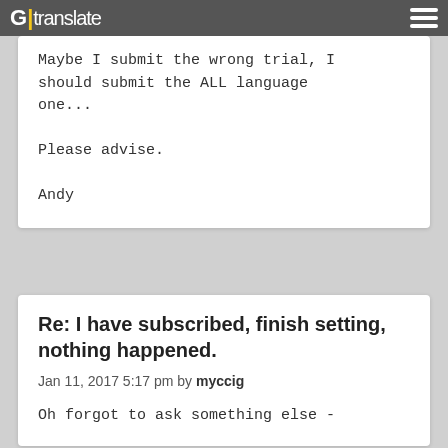G | translate
Maybe I submit the wrong trial, I should submit the ALL language one...

Please advise.

Andy
Re: I have subscribed, finish setting, nothing happened.
Jan 11, 2017 5:17 pm by myccig
Oh forgot to ask something else -